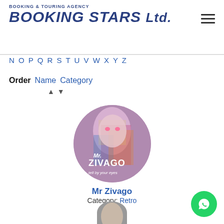BOOKING & TOURING AGENCY BOOKING STARS Ltd.
N O P Q R S T U V W X Y Z
Order  Name  Category
[Figure (photo): Mr Zivago artist promo image — colorful portrait in a circular frame with text 'Mr. Zivago tell by your eyes']
Mr Zivago
Category: Retro
[Figure (photo): Partial view of second artist image at bottom of page]
[Figure (logo): WhatsApp contact button — green circular icon]